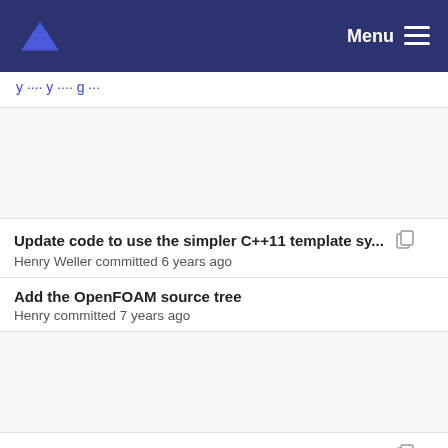Menu
Update code to use the simpler C++11 template sy... Henry Weller committed 6 years ago
Add the OpenFOAM source tree
Henry committed 7 years ago
Update code to use the simpler C++11 template sy... Henry Weller committed 6 years ago
Add the OpenFOAM source tree